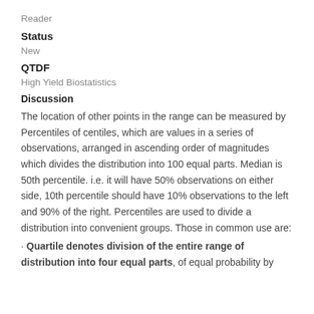Reader
Status
New
QTDF
High Yield Biostatistics
Discussion
The location of other points in the range can be measured by Percentiles of centiles, which are values in a series of observations, arranged in ascending order of magnitudes which divides the distribution into 100 equal parts. Median is 50th percentile. i.e. it will have 50% observations on either side, 10th percentile should have 10% observations to the left and 90% of the right. Percentiles are used to divide a distribution into convenient groups. Those in common use are:
· Quartile denotes division of the entire range of distribution into four equal parts, of equal probability by the...